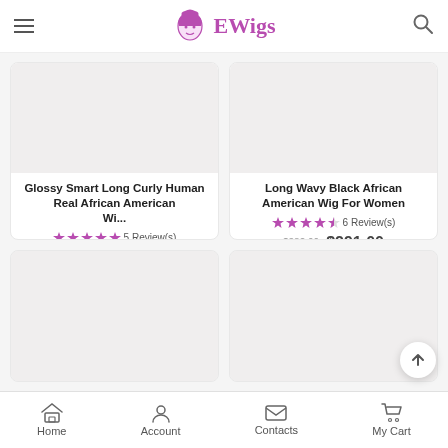EWigs
Glossy Smart Long Curly Human Real African American Wig
5 Review(s)
$400.00  $246.00
Long Wavy Black African American Wig For Women
6 Review(s)
$382.00  $291.00
[Figure (photo): Product image placeholder (bottom-left card)]
[Figure (photo): Product image placeholder (bottom-right card)]
Home  Account  Contacts  My Cart